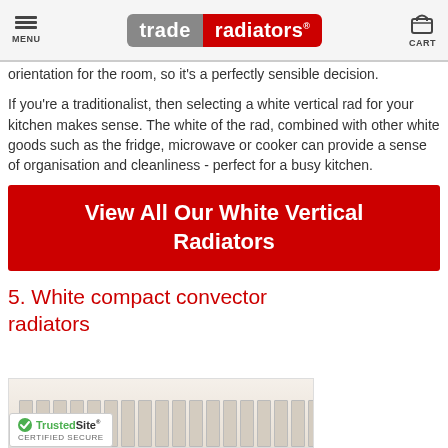MENU | trade radiators® | CART
orientation for the room, so it's a perfectly sensible decision.
If you're a traditionalist, then selecting a white vertical rad for your kitchen makes sense. The white of the rad, combined with other white goods such as the fridge, microwave or cooker can provide a sense of organisation and cleanliness - perfect for a busy kitchen.
View All Our White Vertical Radiators
5. White compact convector radiators
[Figure (photo): White compact convector radiator, cream-colored, with visible fins]